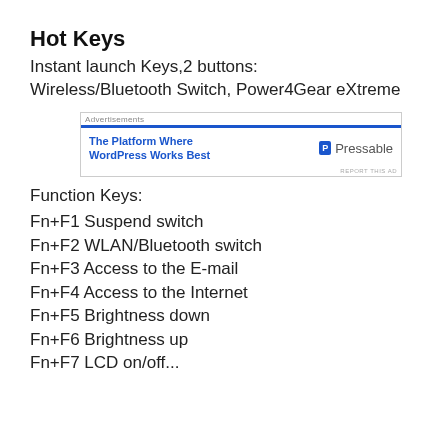Hot Keys
Instant launch Keys,2 buttons:
Wireless/Bluetooth Switch, Power4Gear eXtreme
[Figure (other): Advertisement banner for Pressable - The Platform Where WordPress Works Best]
Function Keys:
Fn+F1 Suspend switch
Fn+F2 WLAN/Bluetooth switch
Fn+F3 Access to the E-mail
Fn+F4 Access to the Internet
Fn+F5 Brightness down
Fn+F6 Brightness up
Fn+F7 LCD on/off...